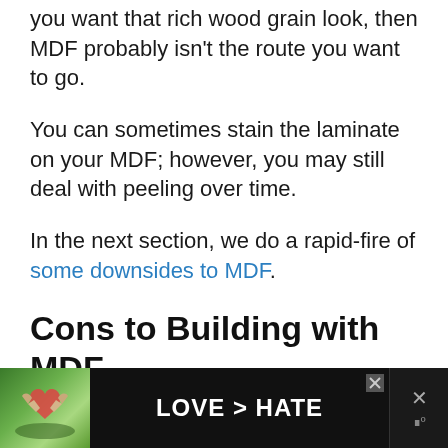you want that rich wood grain look, then MDF probably isn't the route you want to go.
You can sometimes stain the laminate on your MDF; however, you may still deal with peeling over time.
In the next section, we do a rapid-fire of some downsides to MDF.
Cons to Building with MDF
Here is a list of cons to using MDF. Not all MDF is made the same, so it's important to research your specific type of MDF.
[Figure (other): Advertisement banner with hands forming a heart shape against green background, text reading LOVE > HATE in white on dark background, with close button X]